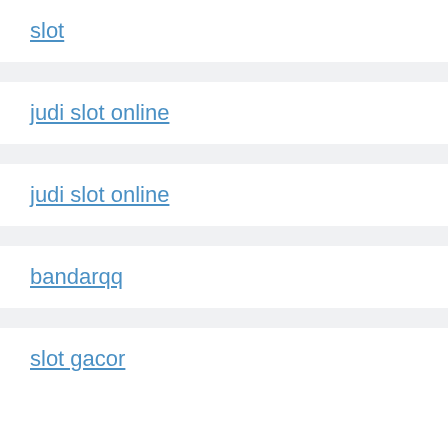slot
judi slot online
judi slot online
bandarqq
slot gacor